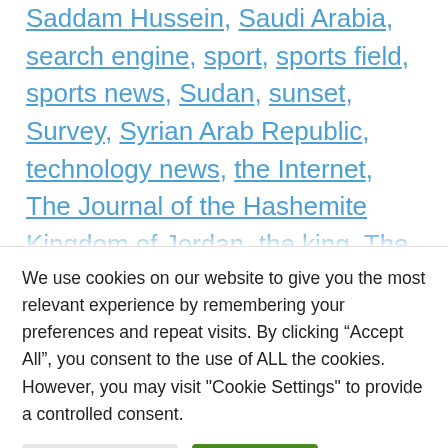Saddam Hussein, Saudi Arabia, search engine, sport, sports field, sports news, Sudan, sunset, Survey, Syrian Arab Republic, technology news, the Internet, The Journal of the Hashemite Kingdom of Jordan, the king, The peace process, The Persian Gulf, the Queen, the two seas, the world, touch, travel news, Tunisia, Turks, United Arab Emirates, Universities and schools, vote, West, Whose...
We use cookies on our website to give you the most relevant experience by remembering your preferences and repeat visits. By clicking “Accept All”, you consent to the use of ALL the cookies. However, you may visit "Cookie Settings" to provide a controlled consent.
Cookie Settings
Accept All